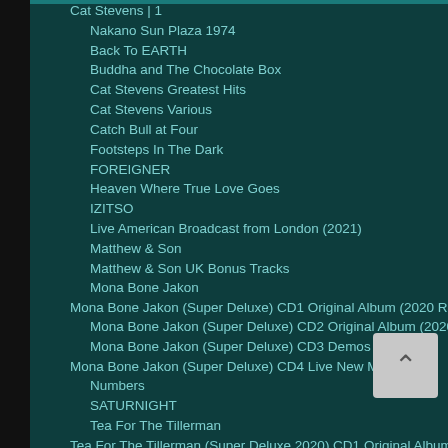Cat Stevens | 1
Nakano Sun Plaza 1974
Back To EARTH
Buddha and The Chocolate Box
Cat Stevens Greatest Hits
Cat Stevens Various
Catch Bull at Four
Footsteps In The Dark
FOREIGNER
Heaven Where True Love Goes
IZITSO
Live American Broadcast from London (2021)
Matthew & Son
Matthew & Son UK Bonus Tracks
Mona Bone Jakon
Mona Bone Jakon (Super Deluxe) CD1 Original Album (2020 Remaster)
Mona Bone Jakon (Super Deluxe) CD2 Original Album (2020 Mix)
Mona Bone Jakon (Super Deluxe) CD3 Demos
Mona Bone Jakon (Super Deluxe) CD4 Live New Masters
Numbers
SATURNIGHT
Tea For The Tillerman
Tea For The Tillerman (Super Deluxe 2020) CD1 Original Album (Remaster)
Tea For The Tillerman (Super Deluxe 2020) CD2 Original Album (2020 Mix)